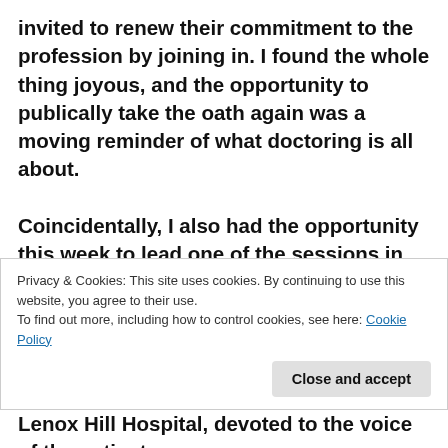invited to renew their commitment to the profession by joining in. I found the whole thing joyous, and the opportunity to publically take the oath again was a moving reminder of what doctoring is all about.

Coincidentally, I also had the opportunity this week to lead one of the sessions in Northwell's Physician Leadership Development Program,  part of a half-day session with Sven Gierlinger, our organization's Chief Experience Officer, and Jill Kalman, the Medical Director of Lenox Hill Hospital, devoted to the voice of the patient.
Privacy & Cookies: This site uses cookies. By continuing to use this website, you agree to their use.
To find out more, including how to control cookies, see here: Cookie Policy
Close and accept